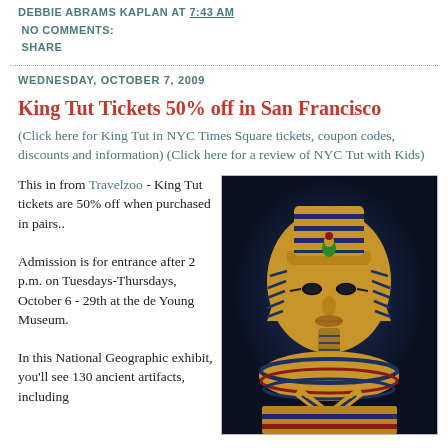DEBBIE ABRAMS KAPLAN AT 7:43 AM
NO COMMENTS:
SHARE
WEDNESDAY, OCTOBER 7, 2009
King Tut Tickets 50% off in San Francisco
(Click here for King Tut in NYC Times Square tickets, coupon codes, discounts and information) (Click here for a review of NYC Tut with Kids)
This in from Travelzoo - King Tut tickets are 50% off when purchased in pairs..
[Figure (photo): Golden death mask of King Tutankhamun photographed against a dark blue background, showing the iconic striped nemes headdress, cobra and vulture symbols, false beard, and crossed arms with crook and flail.]
Admission is for entrance after 2 p.m. on Tuesdays-Thursdays, October 6 - 29th at the de Young Museum.
In this National Geographic exhibit, you'll see 130 ancient artifacts, including